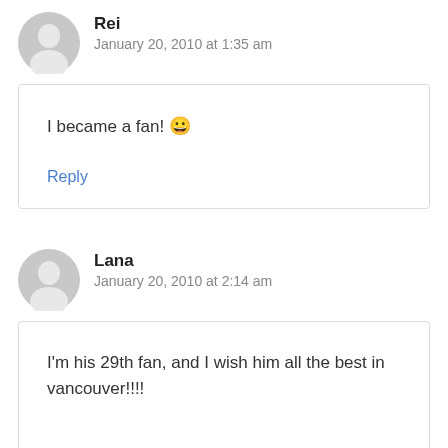Rei
January 20, 2010 at 1:35 am
I became a fan! 😀
Reply
Lana
January 20, 2010 at 2:14 am
I'm his 29th fan, and I wish him all the best in vancouver!!!!